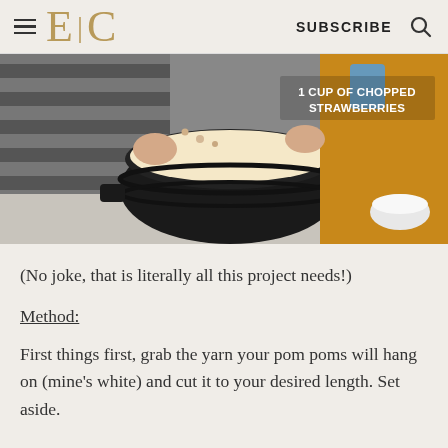E | C   SUBSCRIBE
[Figure (photo): A person in a striped shirt crumbling something into a large black ceramic mixing bowl on a counter, with another person in a yellow/mustard top holding a blue cup. A small white bowl is visible to the right. Text overlay reads '1 CUP OF CHOPPED STRAWBERRIES'.]
(No joke, that is literally all this project needs!)
Method:
First things first, grab the yarn your pom poms will hang on (mine’s white) and cut it to your desired length. Set aside.